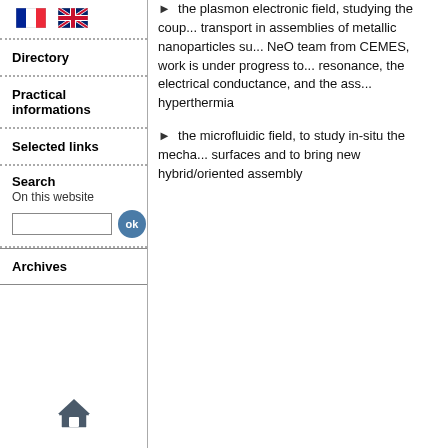[Figure (illustration): French flag and UK flag icons in the sidebar navigation]
the plasmon electronic field, studying the coupling and transport in assemblies of metallic nanoparticles su... NeO team from CEMES, work is under progress to... resonance, the electrical conductance, and the ass... hyperthermia
the microfluidic field, to study in-situ the mecha... surfaces and to bring new hybrid/oriented assembly
Directory
Practical informations
Selected links
Search
On this website
Archives
[Figure (illustration): Home icon (house) at the bottom of the sidebar]